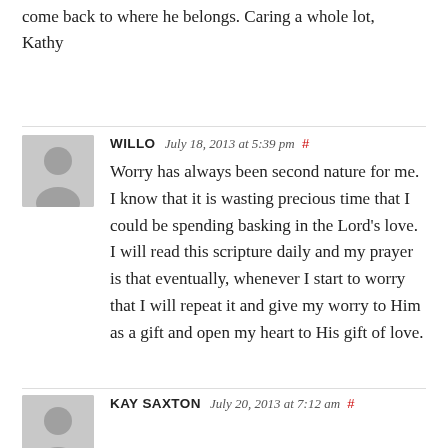come back to where he belongs. Caring a whole lot, Kathy
WILLO  July 18, 2013 at 5:39 pm #
Worry has always been second nature for me. I know that it is wasting precious time that I could be spending basking in the Lord's love. I will read this scripture daily and my prayer is that eventually, whenever I start to worry that I will repeat it and give my worry to Him as a gift and open my heart to His gift of love.
KAY SAXTON  July 20, 2013 at 7:12 am #